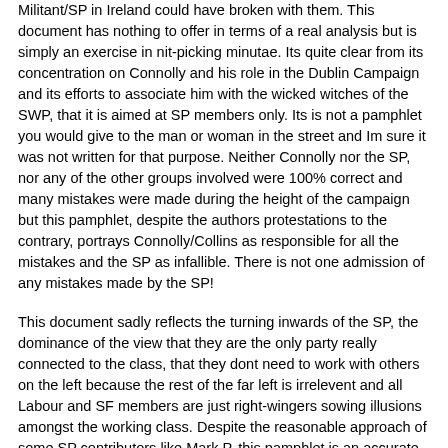Militant/SP in Ireland could have broken with them. This document has nothing to offer in terms of a real analysis but is simply an exercise in nit-picking minutae. Its quite clear from its concentration on Connolly and his role in the Dublin Campaign and its efforts to associate him with the wicked witches of the SWP, that it is aimed at SP members only. Its is not a pamphlet you would give to the man or woman in the street and Im sure it was not written for that purpose. Neither Connolly nor the SP, nor any of the other groups involved were 100% correct and many mistakes were made during the height of the campaign but this pamphlet, despite the authors protestations to the contrary, portrays Connolly/Collins as responsible for all the mistakes and the SP as infallible. There is not one admission of any mistakes made by the SP!
This document sadly reflects the turning inwards of the SP, the dominance of the view that they are the only party really connected to the class, that they dont need to work with others on the left because the rest of the far left is irrelevent and all Labour and SF members are just right-wingers sowing illusions amongst the working class. Despite the reasonable approach of some SP contributors like Mark P, this pamphlet is an accurate reflection of the insular and dogmatic clique that is currently dominant in the SP.
Soap opera and politics
by Mark P - SP personal cap)   Fri Aug 05, 2005 21:48